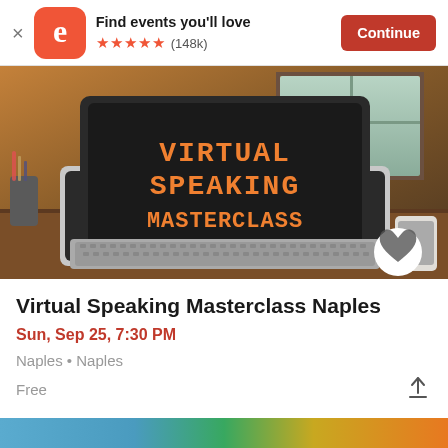Find events you'll love  ★★★★★ (148k)  Continue
[Figure (photo): Laptop on a desk with 'VIRTUAL SPEAKING MASTERCLASS' text displayed on screen in orange pixel-style font, warm ambient lighting]
Virtual Speaking Masterclass Naples
Sun, Sep 25, 7:30 PM
Naples • Naples
Free
[Figure (photo): Partial image at bottom of page, cropped]